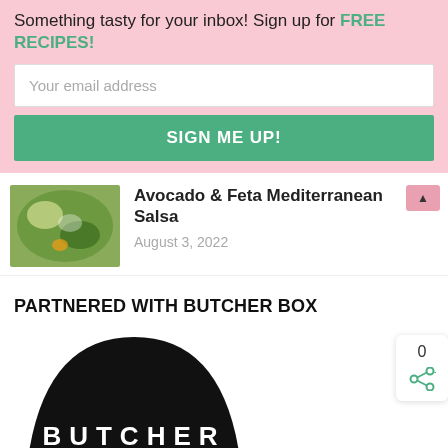Something tasty for your inbox! Sign up for FREE RECIPES!
Your email address
SIGN ME UP!
[Figure (photo): Thumbnail of Avocado & Feta Mediterranean Salsa dish]
Avocado & Feta Mediterranean Salsa
August 3, 2022
PARTNERED WITH BUTCHER BOX
[Figure (logo): Butcher Box logo — white text on black semicircle background reading BUTCHER BOX with decorative lines]
0